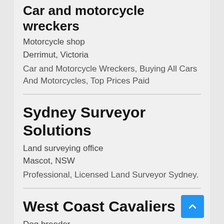Car and motorcycle wreckers
Motorcycle shop
Derrimut, Victoria
Car and Motorcycle Wreckers, Buying All Cars And Motorcycles, Top Prices Paid
Sydney Surveyor Solutions
Land surveying office
Mascot, NSW
Professional, Licensed Land Surveyor Sydney.
West Coast Cavaliers
Dog breeder